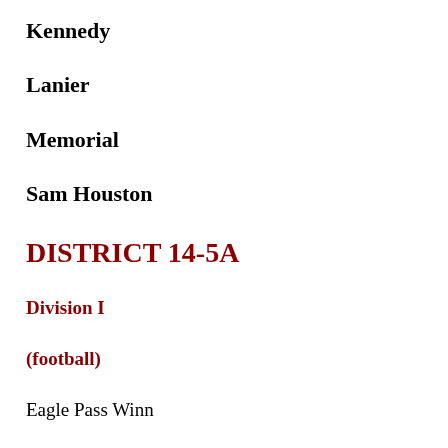Kennedy
Lanier
Memorial
Sam Houston
DISTRICT 14-5A
Division I
(football)
Eagle Pass Winn
Laredo Cigarroa